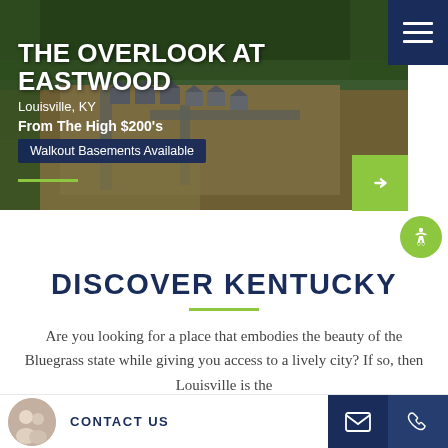[Figure (photo): Aerial drone photo of The Overlook at Eastwood housing development in Louisville, KY, showing new homes under construction with roads and surrounding forest trees]
THE OVERLOOK AT EASTWOOD
Louisville, KY
From The High $200's
Walkout Basements Available
DISCOVER KENTUCKY
Are you looking for a place that embodies the beauty of the Bluegrass state while giving you access to a lively city? If so, then Louisville is the
CONTACT US